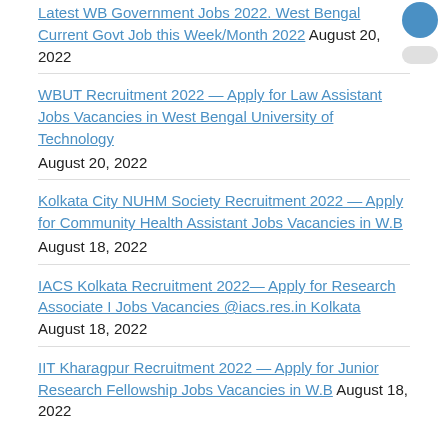Latest WB Government Jobs 2022. West Bengal Current Govt Job this Week/Month 2022 August 20, 2022
WBUT Recruitment 2022 — Apply for Law Assistant Jobs Vacancies in West Bengal University of Technology August 20, 2022
Kolkata City NUHM Society Recruitment 2022 — Apply for Community Health Assistant Jobs Vacancies in W.B August 18, 2022
IACS Kolkata Recruitment 2022— Apply for Research Associate I Jobs Vacancies @iacs.res.in Kolkata August 18, 2022
IIT Kharagpur Recruitment 2022 — Apply for Junior Research Fellowship Jobs Vacancies in W.B August 18, 2022